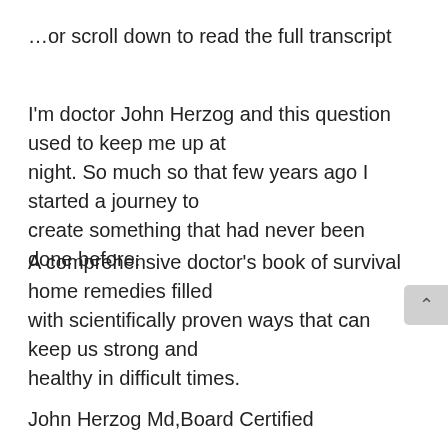…or scroll down to read the full transcript
I'm doctor John Herzog and this question used to keep me up at night. So much so that few years ago I started a journey to create something that had never been done before:
A comprehensive doctor's book of survival home remedies filled with scientifically proven ways that can keep us strong and healthy in difficult times.
John Herzog Md,Board Certified